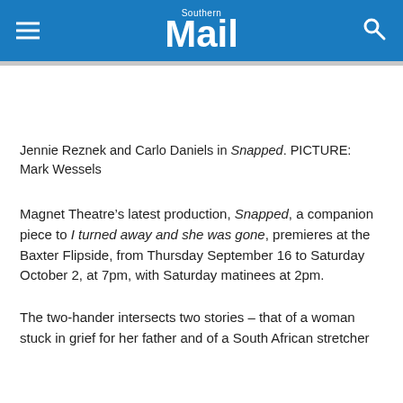Southern Mail
Jennie Reznek and Carlo Daniels in Snapped. PICTURE: Mark Wessels
Magnet Theatre’s latest production, Snapped, a companion piece to I turned away and she was gone, premieres at the Baxter Flipside, from Thursday September 16 to Saturday October 2, at 7pm, with Saturday matinees at 2pm.
The two-hander intersects two stories – that of a woman stuck in grief for her father and of a South African stretcher